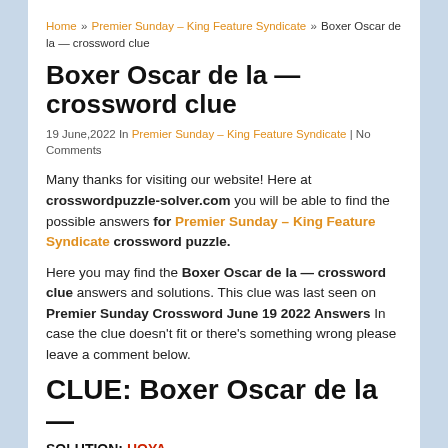Home » Premier Sunday – King Feature Syndicate » Boxer Oscar de la — crossword clue
Boxer Oscar de la — crossword clue
19 June,2022 In Premier Sunday – King Feature Syndicate | No Comments
Many thanks for visiting our website! Here at crosswordpuzzle-solver.com you will be able to find the possible answers for Premier Sunday – King Feature Syndicate crossword puzzle.
Here you may find the Boxer Oscar de la — crossword clue answers and solutions. This clue was last seen on Premier Sunday Crossword June 19 2022 Answers In case the clue doesn't fit or there's something wrong please leave a comment below.
CLUE: Boxer Oscar de la —
SOLUTION: HOYA